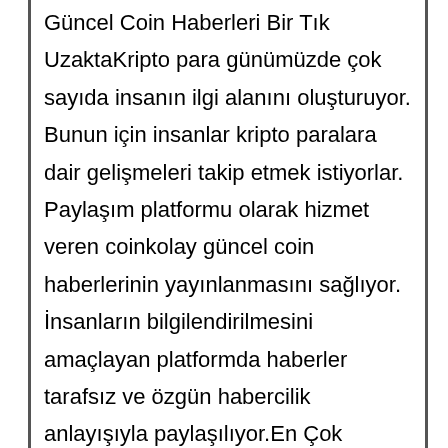Güncel Coin Haberleri Bir Tık UzaktaKripto para günümüzde çok sayıda insanın ilgi alanını oluşturuyor. Bunun için insanlar kripto paralara dair gelişmeleri takip etmek istiyorlar. Paylaşım platformu olarak hizmet veren coinkolay güncel coin haberlerinin yayınlanmasını sağlıyor. İnsanların bilgilendirilmesini amaçlayan platformda haberler tarafsız ve özgün habercilik anlayışıyla paylaşılıyor.En Çok Okunan Coin Haberleri Coin haber paylaşım platformunda bitcoin, altcoin, defi ve blockchain bölümleri yer alıyor. Bu bölümler sayesinde kişiler sadece ilgi duydukları coin hakkındaki haber ve detaylara ulaşabiliyorlar. Ayrıca platformda sayfa yöneticilerinin ve ünlü analistlerin yapmış oldukları coin analizleri yayınlanıyor. Bu analizler sayesinde yatırımcılar hangi kripto paraları tercih edebileceklerini ve ilerleyecekleri yolları belirleme konusunda fikir sahibi olabiliyorlar. Analiz bölümünde dot coin, shiba coin, bitcoin, egc coin analizleri